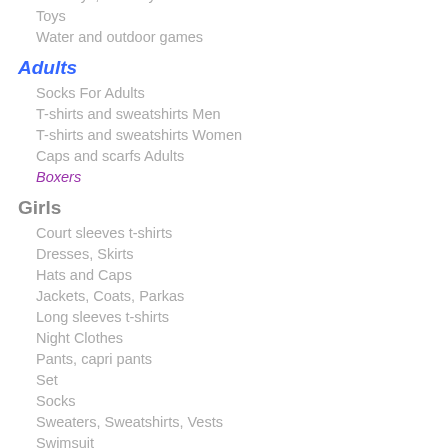Models and Replicas
Soft Toys, Security blanket
Toys
Water and outdoor games
Adults
Socks For Adults
T-shirts and sweatshirts Men
T-shirts and sweatshirts Women
Caps and scarfs Adults
Boxers
Girls
Court sleeves t-shirts
Dresses, Skirts
Hats and Caps
Jackets, Coats, Parkas
Long sleeves t-shirts
Night Clothes
Pants, capri pants
Set
Socks
Sweaters, Sweatshirts, Vests
Swimsuit
Tights
Underclothes
Boys
Court sleeves t-shirts
Hats and Caps
Jackets, Coats, Parkas
Long sleeves t-shirts
Set
Sleepwear
Socks
Sweaters, Sweatshirts, Vests
Swimwear